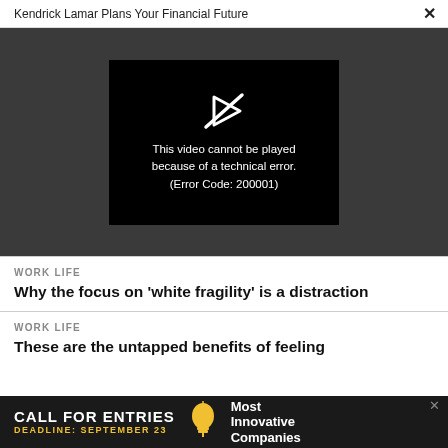Kendrick Lamar Plans Your Financial Future  ×
[Figure (screenshot): Video player showing error: 'This video cannot be played because of a technical error. (Error Code: 200001)' on a dark gray background with a black player box and broken play icon.]
WORK LIFE
Why the focus on 'white fragility' is a distraction
WORK LIFE
These are the untapped benefits of feeling...
[Figure (infographic): Advertisement bar: 'CALL FOR ENTRIES DEADLINE: SEPTEMBER 23 Most Innovative Companies' on black background with lightbulb icon.]